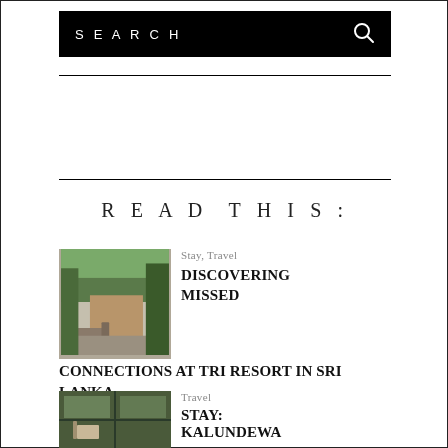SEARCH
READ THIS:
Stay, Travel
DISCOVERING MISSED CONNECTIONS AT TRI RESORT IN SRI LANKA
[Figure (photo): Outdoor terrace view with tropical trees and a resort building]
Travel
STAY: KALUNDEWA
[Figure (photo): Interior glass-walled room with outdoor jungle view]